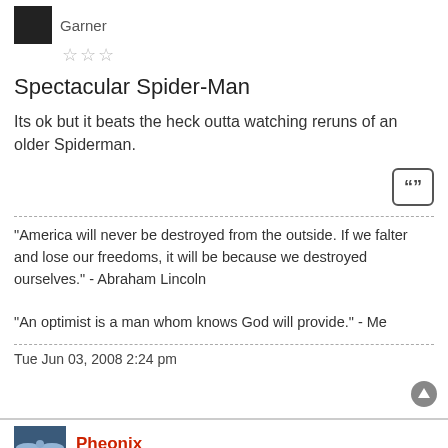Garner
☆☆☆
Spectacular Spider-Man
Its ok but it beats the heck outta watching reruns of an older Spiderman.
"America will never be destroyed from the outside. If we falter and lose our freedoms, it will be because we destroyed ourselves." - Abraham Lincoln

"An optimist is a man whom knows God will provide." - Me
Tue Jun 03, 2008 2:24 pm
Pheonix
Forum Moderator
The 10:00 news.